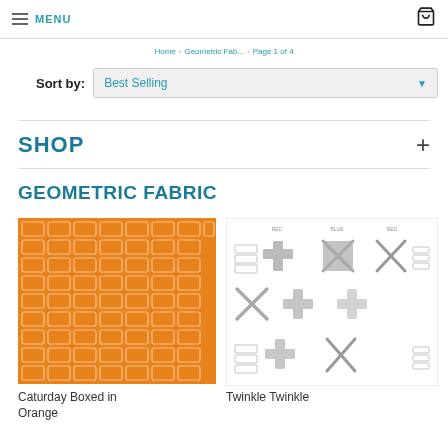MENU
Home > Geometric Fab... > Page 1 of 4
Sort by: Best Selling
SHOP
GEOMETRIC FABRIC
[Figure (photo): Orange fabric with geometric rectangle/grid pattern]
Caturday Boxed in Orange
[Figure (illustration): Grid of cross/plus and X-shaped textile pattern swatches in grey on white background]
Twinkle Twinkle